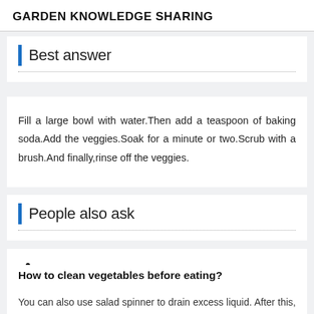GARDEN KNOWLEDGE SHARING
Best answer
Fill a large bowl with water.Then add a teaspoon of baking soda.Add the veggies.Soak for a minute or two.Scrub with a brush.And finally,rinse off the veggies.
People also ask
How to clean vegetables before eating?
You can also use salad spinner to drain excess liquid. After this, pat them dry with paper towel. Never wash